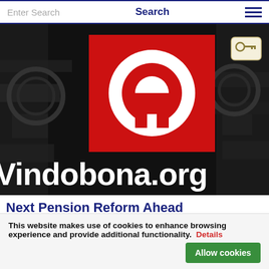Enter Search   Search
[Figure (logo): Vindobona.org website hero image: black and white industrial background with a red square containing a white circle/ring logo in the center, and white bold text 'Vindobona.org' at the bottom. A gold key icon badge appears in the top right corner.]
Next Pension Reform Ahead
European Forum Alpbach: In 2016, the next pension reform may be necessary in Austria.
This website makes use of cookies to enhance browsing experience and provide additional functionality.  Details   Allow cookies